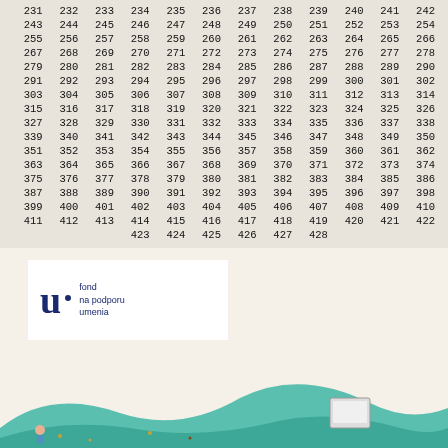| 231 | 232 | 233 | 234 | 235 | 236 | 237 | 238 | 239 | 240 | 241 | 242 |
| 243 | 244 | 245 | 246 | 247 | 248 | 249 | 250 | 251 | 252 | 253 | 254 |
| 255 | 256 | 257 | 258 | 259 | 260 | 261 | 262 | 263 | 264 | 265 | 266 |
| 267 | 268 | 269 | 270 | 271 | 272 | 273 | 274 | 275 | 276 | 277 | 278 |
| 279 | 280 | 281 | 282 | 283 | 284 | 285 | 286 | 287 | 288 | 289 | 290 |
| 291 | 292 | 293 | 294 | 295 | 296 | 297 | 298 | 299 | 300 | 301 | 302 |
| 303 | 304 | 305 | 306 | 307 | 308 | 309 | 310 | 311 | 312 | 313 | 314 |
| 315 | 316 | 317 | 318 | 319 | 320 | 321 | 322 | 323 | 324 | 325 | 326 |
| 327 | 328 | 329 | 330 | 331 | 332 | 333 | 334 | 335 | 336 | 337 | 338 |
| 339 | 340 | 341 | 342 | 343 | 344 | 345 | 346 | 347 | 348 | 349 | 350 |
| 351 | 352 | 353 | 354 | 355 | 356 | 357 | 358 | 359 | 360 | 361 | 362 |
| 363 | 364 | 365 | 366 | 367 | 368 | 369 | 370 | 371 | 372 | 373 | 374 |
| 375 | 376 | 377 | 378 | 379 | 380 | 381 | 382 | 383 | 384 | 385 | 386 |
| 387 | 388 | 389 | 390 | 391 | 392 | 393 | 394 | 395 | 396 | 397 | 398 |
| 399 | 400 | 401 | 402 | 403 | 404 | 405 | 406 | 407 | 408 | 409 | 410 |
| 411 | 412 | 413 | 414 | 415 | 416 | 417 | 418 | 419 | 420 | 421 | 422 |
|  |  |  | 423 | 424 | 425 | 426 | 427 | 428 |  |  |  |
[Figure (logo): Logo: stylized letter 'u' with a dot, beside text reading 'fond na podporu umenia' in dark blue]
[Figure (illustration): Decorative illustration at bottom of page showing green wavy hills/landscape with small items and a tablet/book shape]